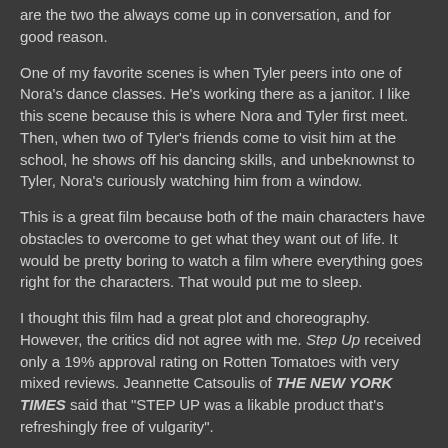are the two the always come up in conversation, and for good reason.
One of my favorite scenes is when Tyler peers into one of Nora's dance classes. He's working there as a janitor. I like this scene because this is where Nora and Tyler first meet. Then, when two of Tyler's friends come to visit him at the school, he shows off his dancing skills, and unbeknownst to Tyler, Nora's curiously watching him from a window.
This is a great film because both of the main characters have obstacles to overcome to get what they want out of life. It would be pretty boring to watch a film where everything goes right for the characters. That would put me to sleep.
I thought this film had a great plot and choreography. However, the critics did not agree with me. Step Up received only a 19% approval rating on Rotten Tomatoes with very mixed reviews. Jeannette Catsoulis of THE NEW YORK TIMES said that "STEP UP was a likable product that's refreshingly free of vulgarity".